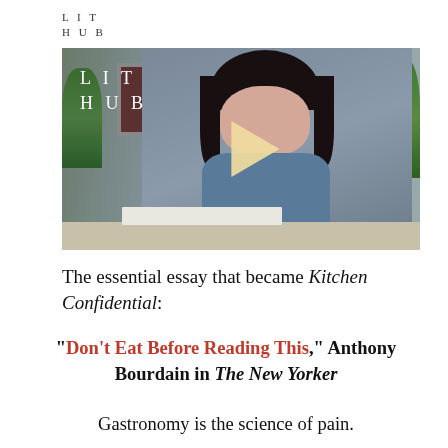LIT
HUB
[Figure (screenshot): Video thumbnail showing a woman with dark hair and bangs sitting at a table with an open book, wearing a denim shirt. A white play button triangle is overlaid in the center. The LIT HUB logo appears in white text overlay on the upper left of the video.]
The essential essay that became Kitchen Confidential:
“Don’t Eat Before Reading This,” Anthony Bourdain in The New Yorker
Gastronomy is the science of pain.